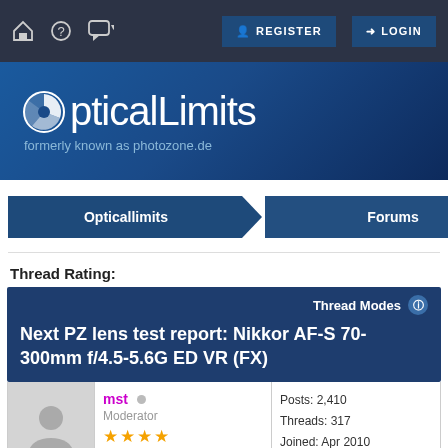Navigation bar: home, help, chat, REGISTER, LOGIN
[Figure (logo): OpticalLimits logo with camera shutter icon, formerly known as photozone.de]
Opticallimits > Forums
Thread Rating:
Next PZ lens test report: Nikkor AF-S 70-300mm f/4.5-5.6G ED VR (FX)
Thread Modes
mst
Moderator
Posts: 2,410
Threads: 317
Joined: Apr 2010
Reputation: 20